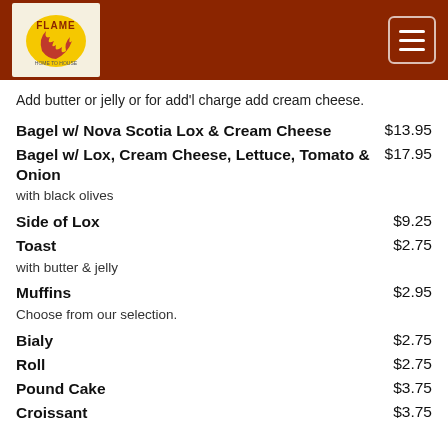[Figure (logo): Flame restaurant logo with hamburger menu button on dark red header bar]
Add butter or jelly or for add'l charge add cream cheese.
Bagel w/ Nova Scotia Lox & Cream Cheese  $13.95
Bagel w/ Lox, Cream Cheese, Lettuce, Tomato & Onion  $17.95
with black olives
Side of Lox  $9.25
Toast  $2.75
with butter & jelly
Muffins  $2.95
Choose from our selection.
Bialy  $2.75
Roll  $2.75
Pound Cake  $3.75
Croissant  $3.75